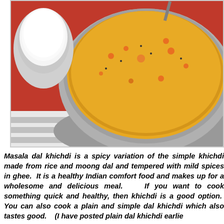[Figure (photo): A steel bowl filled with masala dal khichdi (yellow lentil and rice dish with red tomato pieces), placed on a red and white striped cloth. A small bowl of white yogurt/raita is visible in the upper left corner.]
Masala dal khichdi is a spicy variation of the simple khichdi made from rice and moong dal and tempered with mild spices in ghee. It is a healthy Indian comfort food and makes up for a wholesome and delicious meal. If you want to cook something quick and healthy, then khichdi is a good option. You can also cook a plain and simple dal khichdi which also tastes good. (I have posted plain dal khichdi earlier